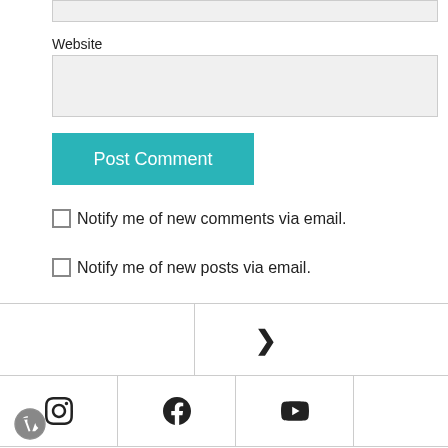[Figure (screenshot): Top portion of a website comment form input bar (partially visible at top)]
Website
[Figure (screenshot): Website input field (empty, light gray background)]
[Figure (screenshot): Post Comment button (teal/cyan background with white text)]
Notify me of new comments via email.
Notify me of new posts via email.
[Figure (screenshot): Navigation section with right arrow chevron]
[Figure (screenshot): Social media icons: Instagram, Facebook, YouTube]
[Figure (logo): WordPress logo]